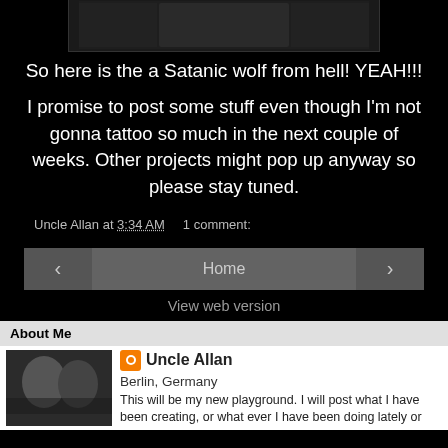[Figure (photo): Partial photo of hands/tattoos at top of page]
So here is the a Satanic wolf from hell! YEAH!!!
I promise to post some stuff even though I'm not gonna tattoo so much in the next couple of weeks. Other projects might pop up anyway so please stay tuned.
Uncle Allan at 3:34 AM   1 comment:
< Home > View web version
About Me
[Figure (photo): Profile photo of Uncle Allan showing two people]
Uncle Allan
Berlin, Germany
This will be my new playground. I will post what I have been creating, or what ever I have been doing lately or